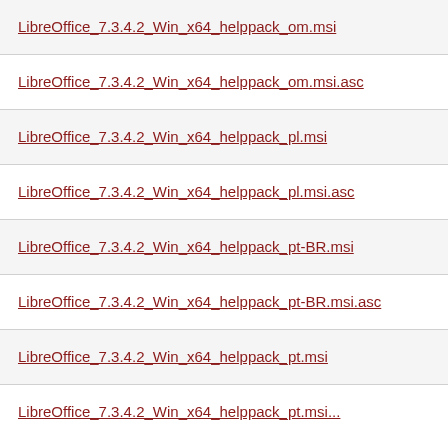LibreOffice_7.3.4.2_Win_x64_helppack_om.msi
LibreOffice_7.3.4.2_Win_x64_helppack_om.msi.asc
LibreOffice_7.3.4.2_Win_x64_helppack_pl.msi
LibreOffice_7.3.4.2_Win_x64_helppack_pl.msi.asc
LibreOffice_7.3.4.2_Win_x64_helppack_pt-BR.msi
LibreOffice_7.3.4.2_Win_x64_helppack_pt-BR.msi.asc
LibreOffice_7.3.4.2_Win_x64_helppack_pt.msi
LibreOffice_7.3.4.2_Win_x64_helppack_pt.msi...